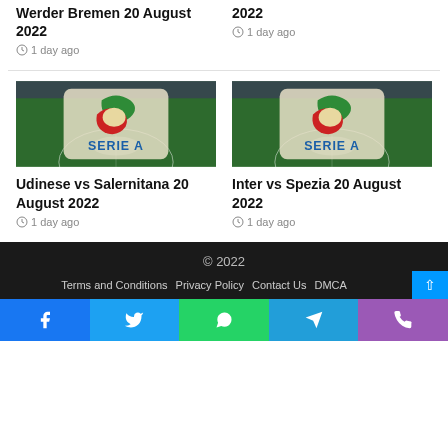Werder Bremen 20 August 2022
1 day ago
2022
1 day ago
[Figure (photo): Serie A logo on football pitch background]
Udinese vs Salernitana 20 August 2022
1 day ago
[Figure (photo): Serie A logo on football pitch background]
Inter vs Spezia 20 August 2022
1 day ago
© 2022
Terms and Conditions  Privacy Policy  Contact Us  DMCA